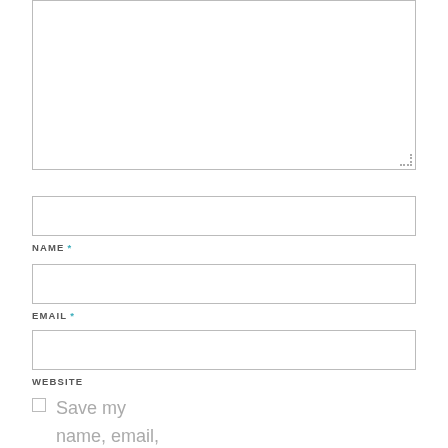[Figure (screenshot): Textarea input box with resize handle at bottom-right corner]
NAME *
[Figure (screenshot): Text input box for NAME field]
EMAIL *
[Figure (screenshot): Text input box for EMAIL field]
WEBSITE
[Figure (screenshot): Text input box for WEBSITE field]
Save my name, email, and website in this browser for the next